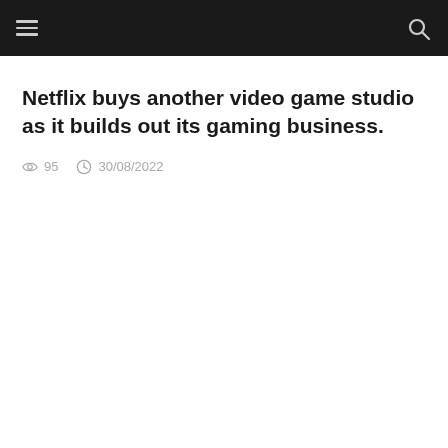Navigation bar with hamburger menu and search icon
Netflix buys another video game studio as it builds out its gaming business.
95  30/08/2022